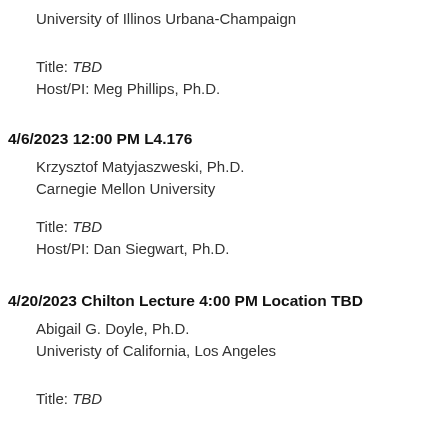University of Illinos Urbana-Champaign
Title: TBD
Host/PI: Meg Phillips, Ph.D.
4/6/2023 12:00 PM L4.176
Krzysztof Matyjaszweski, Ph.D.
Carnegie Mellon University
Title: TBD
Host/PI: Dan Siegwart, Ph.D.
4/20/2023 Chilton Lecture 4:00 PM Location TBD
Abigail G. Doyle, Ph.D.
Univeristy of California, Los Angeles
Title: TBD